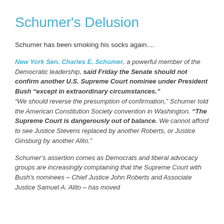Schumer's Delusion
Schumer has been smoking his socks again....
New York Sen. Charles E. Schumer, a powerful member of the Democratic leadership, said Friday the Senate should not confirm another U.S. Supreme Court nominee under President Bush “except in extraordinary circumstances.” “We should reverse the presumption of confirmation,” Schumer told the American Constitution Society convention in Washington. “The Supreme Court is dangerously out of balance. We cannot afford to see Justice Stevens replaced by another Roberts, or Justice Ginsburg by another Alito.”
Schumer’s assertion comes as Democrats and liberal advocacy groups are increasingly complaining that the Supreme Court with Bush’s nominees – Chief Justice John Roberts and Associate Justice Samuel A. Alito – has moved